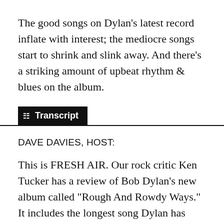The good songs on Dylan's latest record inflate with interest; the mediocre songs start to shrink and slink away. And there's a striking amount of upbeat rhythm & blues on the album.
Transcript
DAVE DAVIES, HOST:
This is FRESH AIR. Our rock critic Ken Tucker has a review of Bob Dylan's new album called "Rough And Rowdy Ways." It includes the longest song Dylan has ever released, the almost-17-minute track "Murder Most Foul," which became Dylan's first No. 1 hit single when it came out in